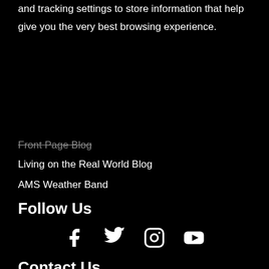and tracking settings to store information that help give you the very best browsing experience.
Front Page Blog
Living on the Real World Blog
AMS Weather Band
Follow Us
[Figure (infographic): Social media icons: Facebook, Twitter, Instagram, YouTube]
Contact Us
CONTACT PUBLISHING STAFF
EMAIL & PHONE CONTACTS